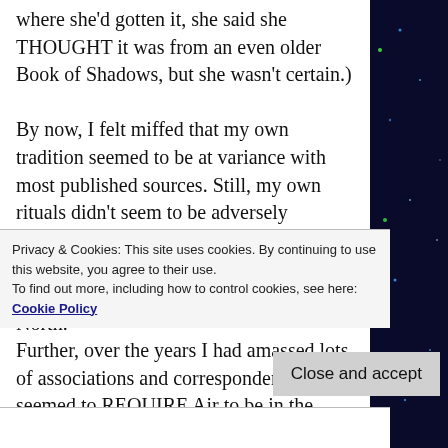where she'd gotten it, she said she THOUGHT it was from an even older Book of Shadows, but she wasn't certain.)
By now, I felt miffed that my own tradition seemed to be at variance with most published sources. Still, my own rituals didn't seem to be adversely affected.
Nor were those of my fellow Coven members, all of whom put Air in the North.
Further, over the years I had amassed lots of associations and correspondences that seemed to REQUIRE Air to be in the North. The
Privacy & Cookies: This site uses cookies. By continuing to use this website, you agree to their use.
To find out more, including how to control cookies, see here: Cookie Policy
Close and accept